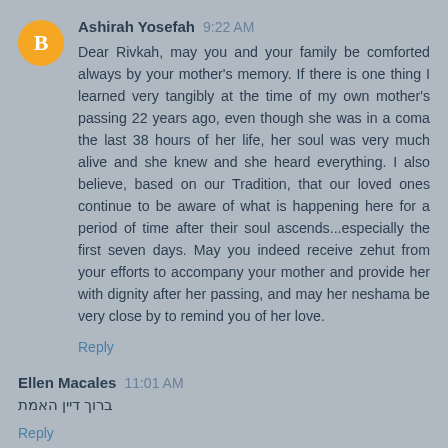Ashirah Yosefah 9:22 AM
Dear Rivkah, may you and your family be comforted always by your mother's memory. If there is one thing I learned very tangibly at the time of my own mother's passing 22 years ago, even though she was in a coma the last 38 hours of her life, her soul was very much alive and she knew and she heard everything. I also believe, based on our Tradition, that our loved ones continue to be aware of what is happening here for a period of time after their soul ascends...especially the first seven days. May you indeed receive zehut from your efforts to accompany your mother and provide her with dignity after her passing, and may her neshama be very close by to remind you of her love.
Reply
Ellen Macales 11:01 AM
ברוך דיין האמת
Reply